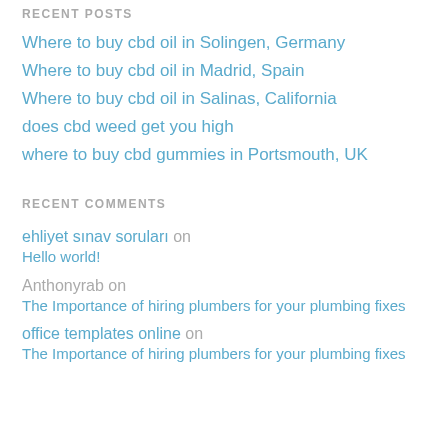RECENT POSTS
Where to buy cbd oil in Solingen, Germany
Where to buy cbd oil in Madrid, Spain
Where to buy cbd oil in Salinas, California
does cbd weed get you high
where to buy cbd gummies in Portsmouth, UK
RECENT COMMENTS
ehliyet sınav soruları on Hello world!
Anthonyrab on The Importance of hiring plumbers for your plumbing fixes
office templates online on The Importance of hiring plumbers for your plumbing fixes